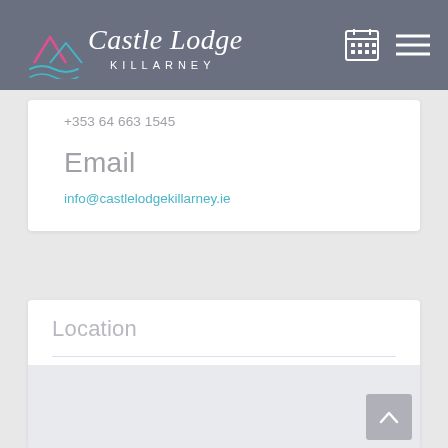[Figure (logo): Castle Lodge Killarney logo with mountain and wave graphic in pink and teal, white script text, on grey header background with calendar and menu icons]
+353 64 663 1545
Email
info@castlelodgekillarney.ie
Location